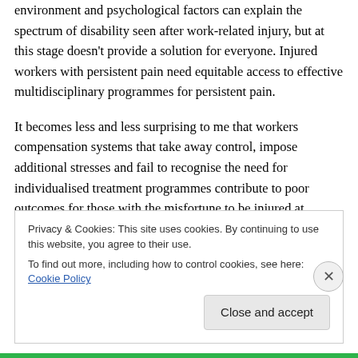environment and psychological factors can explain the spectrum of disability seen after work-related injury, but at this stage doesn't provide a solution for everyone. Injured workers with persistent pain need equitable access to effective multidisciplinary programmes for persistent pain.
It becomes less and less surprising to me that workers compensation systems that take away control, impose additional stresses and fail to recognise the need for individualised treatment programmes contribute to poor outcomes for those with the misfortune to be injured at
Privacy & Cookies: This site uses cookies. By continuing to use this website, you agree to their use.
To find out more, including how to control cookies, see here: Cookie Policy
Close and accept